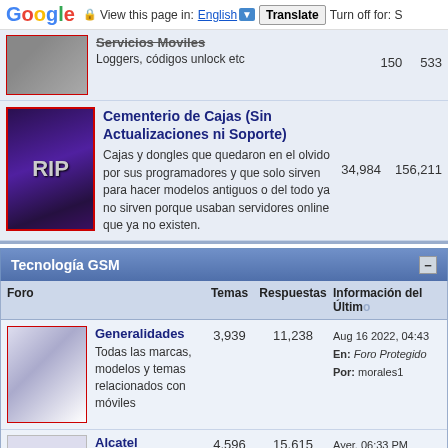Google — View this page in: English [▼] Translate | Turn off for: S
Servicios Moviles — Loggers, códigos unlock etc — 150  533
Cementerio de Cajas (Sin Actualizaciones ni Soporte)
Cajas y dongles que quedaron en el olvido por sus programadores y que solo sirven para hacer modelos antiguos o del todo ya no sirven porque usaban servidores online que ya no existen.  34,984  156,211
Tecnología GSM
| Foro | Temas | Respuestas | Información del Último |
| --- | --- | --- | --- |
| Generalidades — Todas las marcas, modelos y temas relacionados con móviles | 3,939 | 11,238 | Aug 16 2022, 04:43
En: Foro Protegido
Por: morales1 |
| Alcatel | 4,596 | 15,615 | Ayer, 06:33 PM
En: Foro Protegido |